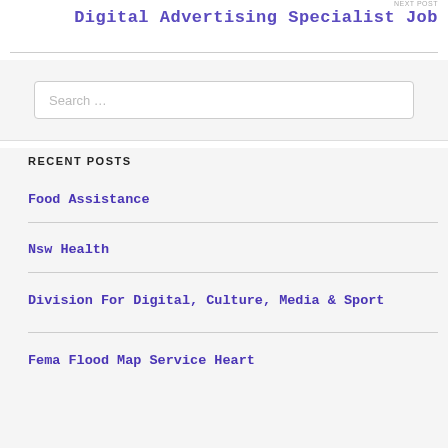NEXT POST
Digital Advertising Specialist Job
Search …
RECENT POSTS
Food Assistance
Nsw Health
Division For Digital, Culture, Media & Sport
Fema Flood Map Service Heart